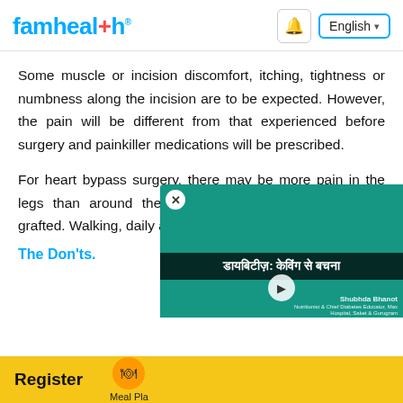famhealth | English
Some muscle or incision discomfort, itching, tightness or numbness along the incision are to be expected. However, the pain will be different from that experienced before surgery and painkiller medications will be prescribed.
For heart bypass surgery, there may be more pain in the legs than around the chest incision if leg veins were grafted. Walking, daily activities, and discomfort and s
[Figure (screenshot): Video overlay with Hindi text 'डायबिटीज़: केविंग से बचना' (Diabetes: Avoiding Caving), featuring Shubhda Bhanot, Nutritionist & Chief Diabetes Educator, Max Hospital, Saket & Gurugram]
The Don'ts.
Register | Meal Pla...